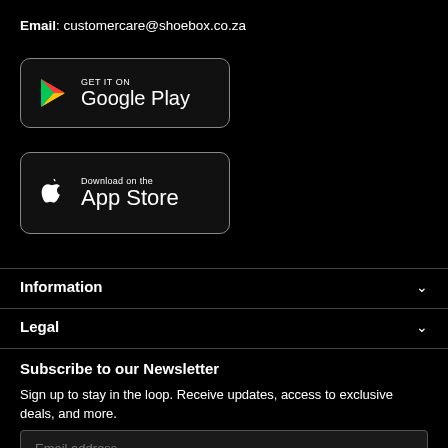Email: customercare@shoebox.co.za
[Figure (logo): GET IT ON Google Play button badge]
[Figure (logo): Download on the App Store button badge]
Information
Legal
Subscribe to our Newsletter
Sign up to stay in the loop. Receive updates, access to exclusive deals, and more.
Email address